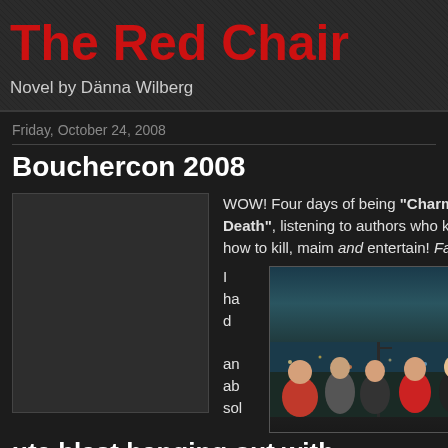The Red Chair
Novel by Dänna Wilberg
Friday, October 24, 2008
Bouchercon 2008
[Figure (photo): Dark placeholder image on the left side of the blog post]
WOW! Four days of being "Charmed to Death", listening to authors who know how to kill, maim and entertain! Fabulous. I had an absolute blast hanging out with
[Figure (photo): Outdoor nighttime photo showing a group of people in front of what appears to be a waterfront or city scene at night]